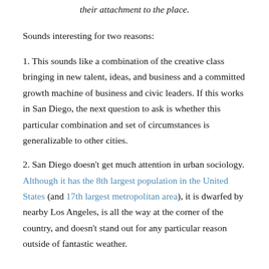their attachment to the place.
Sounds interesting for two reasons:
1. This sounds like a combination of the creative class bringing in new talent, ideas, and business and a committed growth machine of business and civic leaders. If this works in San Diego, the next question to ask is whether this particular combination and set of circumstances is generalizable to other cities.
2. San Diego doesn’t get much attention in urban sociology. Although it has the 8th largest population in the United States (and 17th largest metropolitan area), it is dwarfed by nearby Los Angeles, is all the way at the corner of the country, and doesn’t stand out for any particular reason outside of fantastic weather.